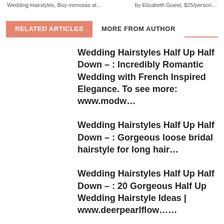Wedding Hairstyles, Buy mimosas at… | by Elizabeth Guest, $25/person…
RELATED ARTICLES | MORE FROM AUTHOR
Wedding Hairstyles Half Up Half Down – : Incredibly Romantic Wedding with French Inspired Elegance. To see more: www.modw…
Wedding Hairstyles Half Up Half Down – : Gorgeous loose bridal hairstyle for long hair…
Wedding Hairstyles Half Up Half Down – : 20 Gorgeous Half Up Wedding Hairstyle Ideas | www.deerpearlflow……
Wedding Hairstyles Half Up Half Down – : pretty wedding hairstyle…